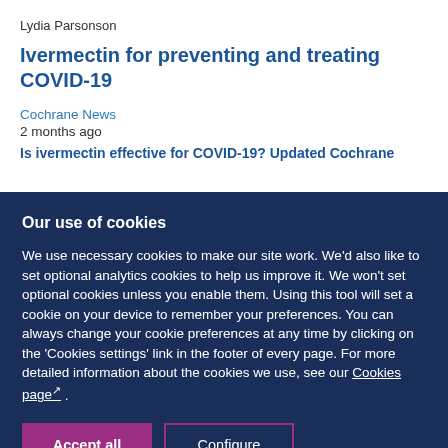Lydia Parsonson
Ivermectin for preventing and treating COVID-19
Cochrane News
2 months ago
Is ivermectin effective for COVID-19? Updated Cochrane
Our use of cookies
We use necessary cookies to make our site work. We'd also like to set optional analytics cookies to help us improve it. We won't set optional cookies unless you enable them. Using this tool will set a cookie on your device to remember your preferences. You can always change your cookie preferences at any time by clicking on the 'Cookies settings' link in the footer of every page. For more detailed information about the cookies we use, see our Cookies page .
Accept all
Configure